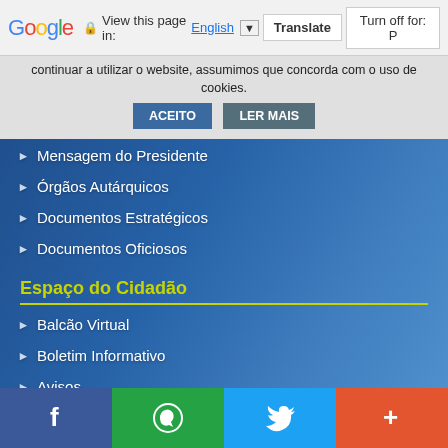Google | View this page in: English | Translate | Turn off for: P
continuar a utilizar o website, assumimos que concorda com o uso de cookies. ACEITO LER MAIS
Mensagem do Presidente
Órgãos Autárquicos
Documentos Estratégicos
Documentos Oficiosos
Espaço do Cidadão
Balcão Virtual
Boletim Informativo
Avisos
Editais da Freguesia
Editais e Informações
Transportes
Facebook | WhatsApp | Twitter | More